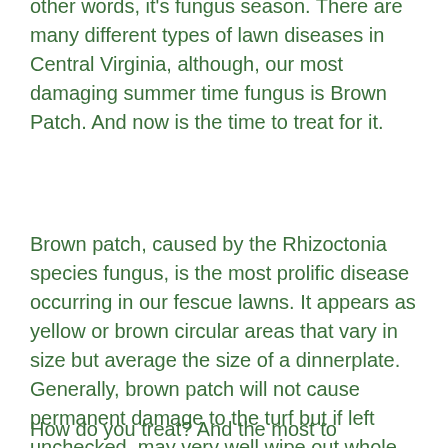other words, it's fungus season. There are many different types of lawn diseases in Central Virginia, although, our most damaging summer time fungus is Brown Patch. And now is the time to treat for it.
Brown patch, caused by the Rhizoctonia species fungus, is the most prolific disease occurring in our fescue lawns. It appears as yellow or brown circular areas that vary in size but average the size of a dinnerplate. Generally, brown patch will not cause permanent damage to the turf but if left unchecked,  may very well wipe out whole sections of turf.
How do you treat? And the most to...